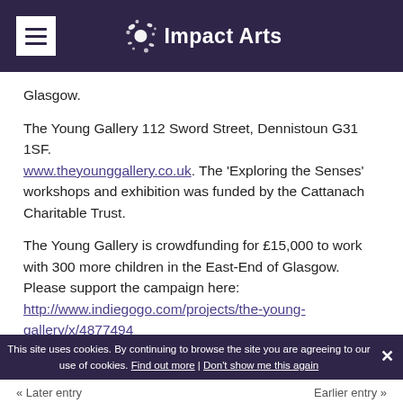Impact Arts
Glasgow.
The Young Gallery 112 Sword Street, Dennistoun G31 1SF. www.theyounggallery.co.uk. The 'Exploring the Senses' workshops and exhibition was funded by the Cattanach Charitable Trust.
The Young Gallery is crowdfunding for £15,000 to work with 300 more children in the East-End of Glasgow. Please support the campaign here: http://www.indiegogo.com/projects/the-young-gallery/x/4877494
This site uses cookies. By continuing to browse the site you are agreeing to our use of cookies. Find out more | Don't show me this again
« Later entry   Earlier entry »